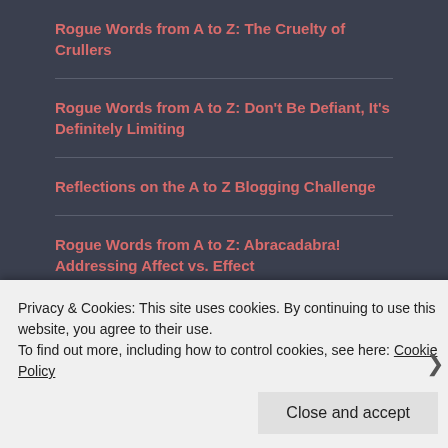Rogue Words from A to Z: The Cruelty of Crullers
Rogue Words from A to Z: Don't Be Defiant, It's Definitely Limiting
Reflections on the A to Z Blogging Challenge
Rogue Words from A to Z: Abracadabra! Addressing Affect vs. Effect
POSTS BY CATEGORY
Privacy & Cookies: This site uses cookies. By continuing to use this website, you agree to their use.
To find out more, including how to control cookies, see here: Cookie Policy
Close and accept